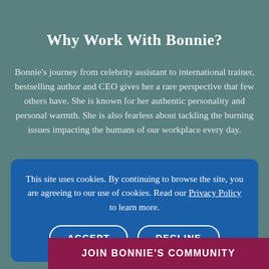Why Work With Bonnie?
Bonnie's journey from celebrity assistant to international trainer, bestselling author and CEO gives her a rare perspective that few others have. She is known for her authentic personality and personal warmth. She is also fearless about tackling the burning issues impacting the humans of our workplace every day.
This site uses cookies. By continuing to browse the site, you are agreeing to our use of cookies. Read our Privacy Policy to learn more.
ACCEPT
DECLINE
JOIN BONNIE'S COMMUNITY